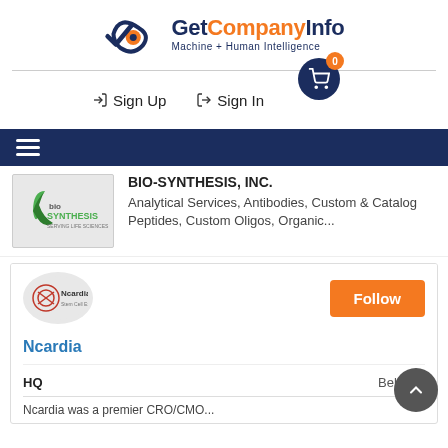GetCompanyInfo — Machine + Human Intelligence
Sign Up   Sign In
[Figure (logo): Navigation menu bar with hamburger icon on dark blue background]
BIO-SYNTHESIS, INC.
Analytical Services, Antibodies, Custom & Catalog Peptides, Custom Oligos, Organic...
Ncardia
Follow
Ncardia
HQ   Belgium
Ncardia was a premier CRO/CMO...